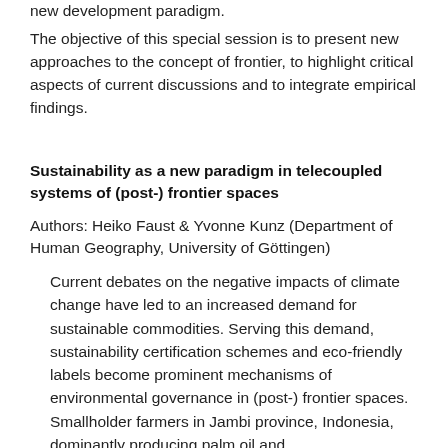new development paradigm.
The objective of this special session is to present new approaches to the concept of frontier, to highlight critical aspects of current discussions and to integrate empirical findings.
Sustainability as a new paradigm in telecoupled systems of (post-) frontier spaces
Authors: Heiko Faust & Yvonne Kunz (Department of Human Geography, University of Göttingen)
Current debates on the negative impacts of climate change have led to an increased demand for sustainable commodities. Serving this demand, sustainability certification schemes and eco-friendly labels become prominent mechanisms of environmental governance in (post-) frontier spaces. Smallholder farmers in Jambi province, Indonesia, dominantly producing palm oil and